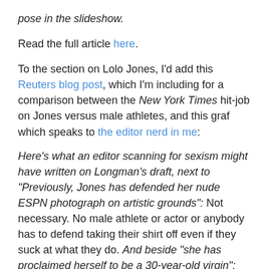pose in the slideshow.
Read the full article here.
To the section on Lolo Jones, I'd add this Reuters blog post, which I'm including for a comparison between the New York Times hit-job on Jones versus male athletes, and this graf which speaks to the editor nerd in me:
Here's what an editor scanning for sexism might have written on Longman's draft, next to "Previously, Jones has defended her nude ESPN photograph on artistic grounds": Not necessary. No male athlete or actor or anybody has to defend taking their shirt off even if they suck at what they do. And beside "she has proclaimed herself to be a 30-year-old virgin": Implies that she's not, when only reason to do so is weird investment in truth of virgin-whore